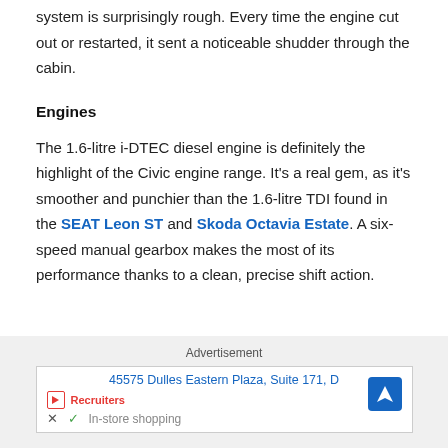system is surprisingly rough. Every time the engine cut out or restarted, it sent a noticeable shudder through the cabin.
Engines
The 1.6-litre i-DTEC diesel engine is definitely the highlight of the Civic engine range. It's a real gem, as it's smoother and punchier than the 1.6-litre TDI found in the SEAT Leon ST and Skoda Octavia Estate. A six-speed manual gearbox makes the most of its performance thanks to a clean, precise shift action.
Advertisement
45575 Dulles Eastern Plaza, Suite 171, D